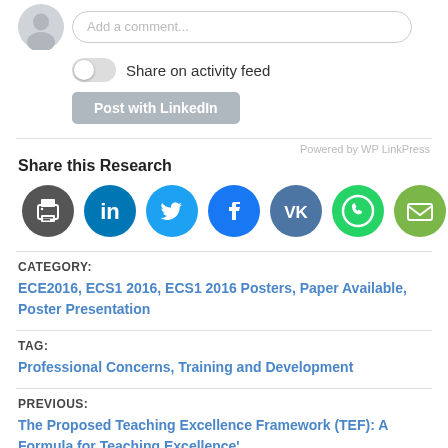[Figure (screenshot): User icon (grey silhouette) and comment input box with placeholder 'Add a comment...' and toggle for 'Share on activity feed' and 'Post with LinkedIn' button]
Powered by WP LinkPress
Share this Research
[Figure (infographic): Row of social sharing icons: print (dark grey), LinkedIn (dark blue), Twitter (light blue), Facebook (dark blue), VK (blue-grey), WhatsApp (green), Email (olive green)]
CATEGORY:
ECE2016, ECS1 2016, ECS1 2016 Posters, Paper Available, Poster Presentation
TAG:
Professional Concerns, Training and Development
PREVIOUS:
The Proposed Teaching Excellence Framework (TEF): A Formula for Teaching Excellence'